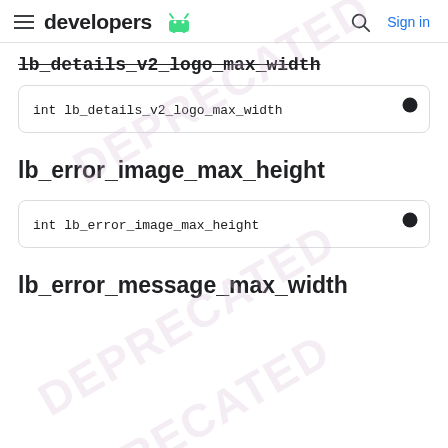developers (Android logo) | Search | Sign in
lb_details_v2_logo_max_width
int lb_details_v2_logo_max_width
lb_error_image_max_height
int lb_error_image_max_height
lb_error_message_max_width